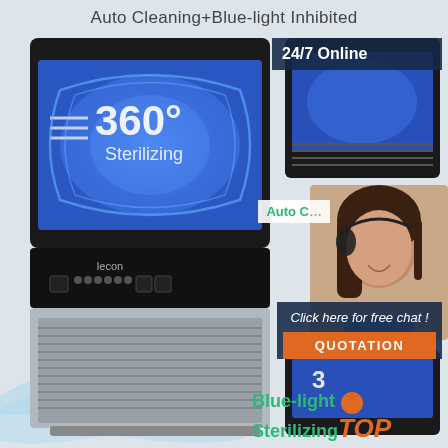Auto Cleaning+Blue-light Inhibited
[Figure (photo): Commercial ice maker machine (lecon brand) with blue UV sterilizing light visible through transparent top panel, showing '360° Sterilizing' text on display. Stainless steel lower body with ventilation grilles and control panel. Water splash effects around the machine.]
[Figure (photo): Customer service representative (woman with headset) with '24/7 Online' text overlay on dark background panel.]
Auto C
Click here for free chat !
QUOTATION
Blue-light SterilizingTOP